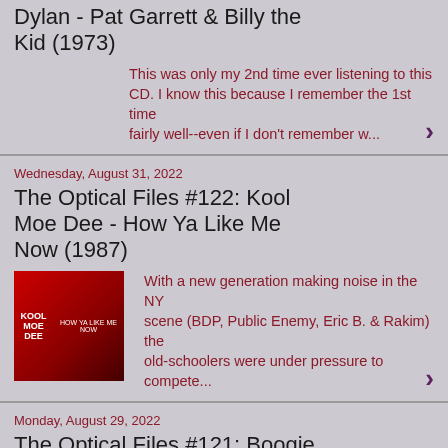Dylan - Pat Garrett & Billy the Kid (1973)
This was only my 2nd time ever listening to this CD. I know this because I remember the 1st time fairly well--even if I don't remember w...
Wednesday, August 31, 2022
The Optical Files #122: Kool Moe Dee - How Ya Like Me Now (1987)
With a new generation making noise in the NY scene (BDP, Public Enemy, Eric B. & Rakim) the old-schoolers were under pressure to compete...
Monday, August 29, 2022
The Optical Files #121: Boogie Down Productions - Edutainment (1990)
I have a lot of history with this CD. When I met KRS at a lecture/book signing in 2004 (back when